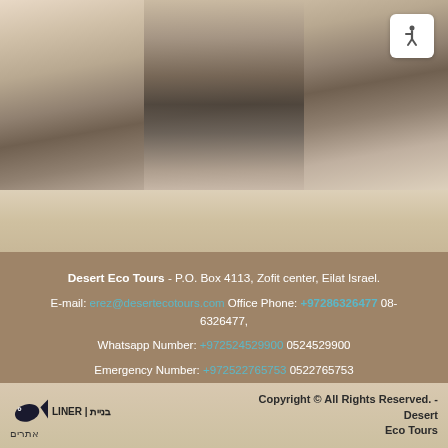[Figure (photo): Black and white sepia-toned photo showing a person in robes standing in a rocky desert environment, viewed from mid-body down]
Desert Eco Tours - P.O. Box 4113, Zofit center, Eilat Israel.
E-mail: erez@desertecotours.com Office Phone: +97286326477  08-6326477,
Whatsapp Number:  +972524529900  0524529900
Emergency Number: +972522765753   0522765753
Copyright © All Rights Reserved. - Desert Eco Tours
[Figure (logo): Fish logo icon for LINER website builder, with Hebrew text בנית | LINER and אתרים below]